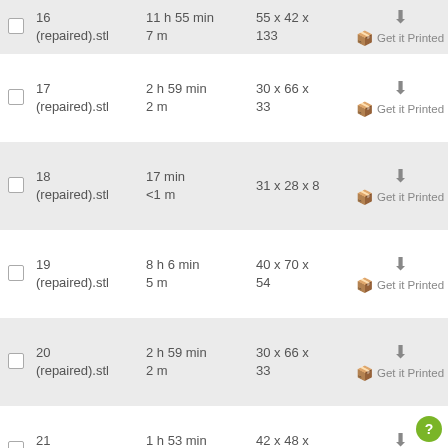|  | Name | Time | Size | Action |
| --- | --- | --- | --- | --- |
|  | 16 (repaired).stl | 11 h 55 min 7 m | 55 x 42 x 133 | ↓ Get it Printed |
|  | 17 (repaired).stl | 2 h 59 min 2 m | 30 x 66 x 33 | ↓ Get it Printed |
|  | 18 (repaired).stl | 17 min <1 m | 31 x 28 x 8 | ↓ Get it Printed |
|  | 19 (repaired).stl | 8 h 6 min 5 m | 40 x 70 x 54 | ↓ Get it Printed |
|  | 20 (repaired).stl | 2 h 59 min 2 m | 30 x 66 x 33 | ↓ Get it Printed |
|  | 21 (repaired).stl | 1 h 53 min 1 m | 42 x 48 x 21 | ↓ Get it Printed |